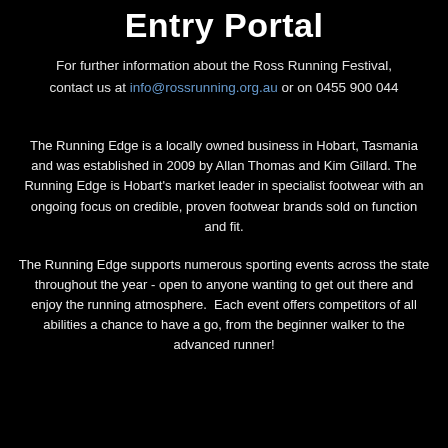Entry Portal
For further information about the Ross Running Festival, contact us at info@rossrunning.org.au or on 0455 900 044
The Running Edge is a locally owned business in Hobart, Tasmania and was established in 2009 by Allan Thomas and Kim Gillard. The Running Edge is Hobart's market leader in specialist footwear with an ongoing focus on credible, proven footwear brands sold on function and fit.
The Running Edge supports numerous sporting events across the state throughout the year - open to anyone wanting to get out there and enjoy the running atmosphere.  Each event offers competitors of all abilities a chance to have a go, from the beginner walker to the advanced runner!